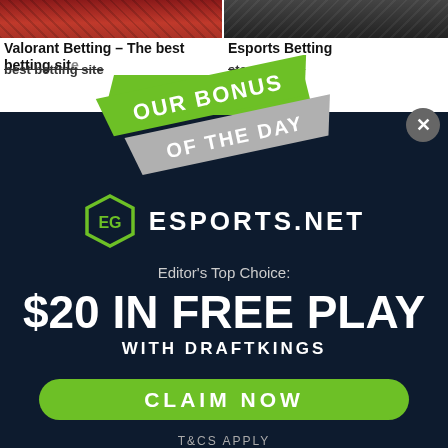[Figure (screenshot): Top portion of a webpage showing two article thumbnails: 'Valorant Betting – The best betting sites...' on the left and 'Esports Betting... ultimate' on the right, partially obscured by an overlay.]
[Figure (illustration): Diagonal promotional banner with green and grey ribbons reading 'OUR BONUS OF THE DAY']
[Figure (logo): Esports.net logo: green hexagon icon with 'EG' letters and text 'ESPORTS.NET']
Editor's Top Choice:
$20 IN FREE PLAY
WITH DRAFTKINGS
CLAIM NOW
T&CS APPLY